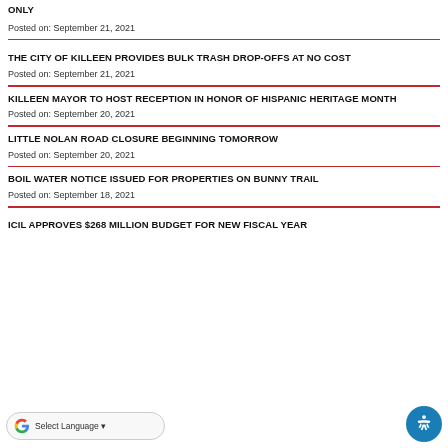ONLY
Posted on: September 21, 2021
THE CITY OF KILLEEN PROVIDES BULK TRASH DROP-OFFS AT NO COST
Posted on: September 21, 2021
KILLEEN MAYOR TO HOST RECEPTION IN HONOR OF HISPANIC HERITAGE MONTH
Posted on: September 20, 2021
LITTLE NOLAN ROAD CLOSURE BEGINNING TOMORROW
Posted on: September 20, 2021
BOIL WATER NOTICE ISSUED FOR PROPERTIES ON BUNNY TRAIL
Posted on: September 18, 2021
ICIL APPROVES $268 MILLION BUDGET FOR NEW FISCAL YEAR